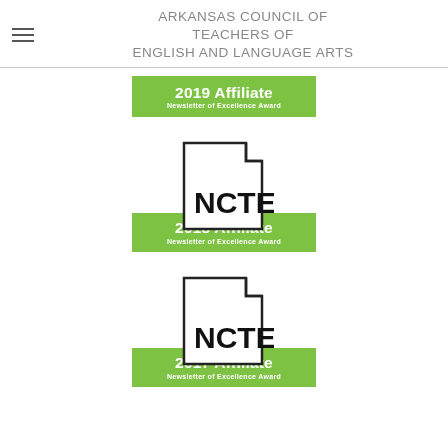ARKANSAS COUNCIL OF TEACHERS OF ENGLISH AND LANGUAGE ARTS
[Figure (logo): 2019 Affiliate Newsletter of Excellence Award badge - green rectangle with white text]
[Figure (logo): NCTE document icon above green rectangle reading '2018 Affiliate Newsletter of Excellence Award']
[Figure (logo): NCTE document icon above green rectangle reading '2017 Affiliate Newsletter of Excellence Award']